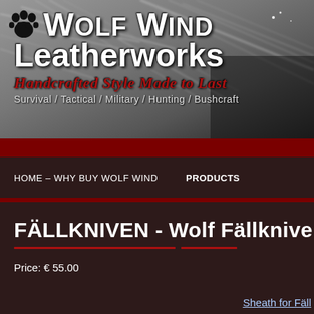[Figure (logo): Wolf Wind Leatherworks logo banner with black and white wolf fur background. Contains paw print icon, 'Wolf Wind Leatherworks' title text, tagline 'Handcrafted Style Made to Last', and subtitle 'Survival / Tactical / Military / Hunting / Bushcraft']
Wolf Wind Leatherworks
Handcrafted Style Made to Last
Survival / Tactical / Military / Hunting / Bushcraft
HOME – WHY BUY WOLF WIND    PRODUCTS
FÄLLKNIVEN - Wolf Fällkniven F1
Price: € 55.00
Sheath for Fäll